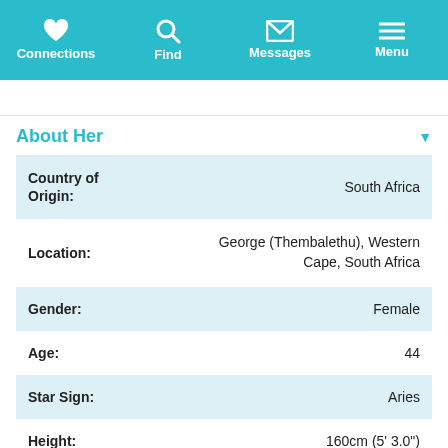Connections | Find | Messages | Menu
About Her
| Field | Value |
| --- | --- |
| Country of Origin: | South Africa |
| Location: | George (Thembalethu), Western Cape, South Africa |
| Gender: | Female |
| Age: | 44 |
| Star Sign: | Aries |
| Height: | 160cm (5' 3.0") |